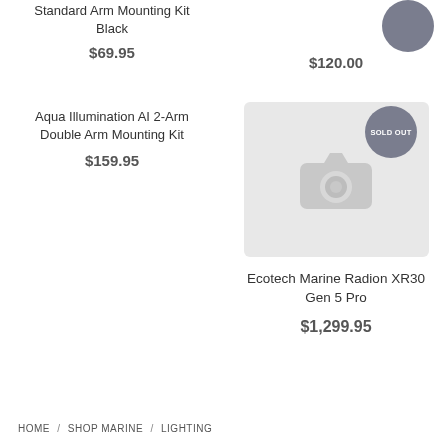Standard Arm Mounting Kit Black
$69.95
$120.00
Aqua Illumination AI 2-Arm Double Arm Mounting Kit
$159.95
[Figure (photo): Sold Out badge circle (gray)]
[Figure (photo): No image available placeholder with camera icon, sold out badge]
Ecotech Marine Radion XR30 Gen 5 Pro
$1,299.95
HOME / SHOP MARINE / LIGHTING